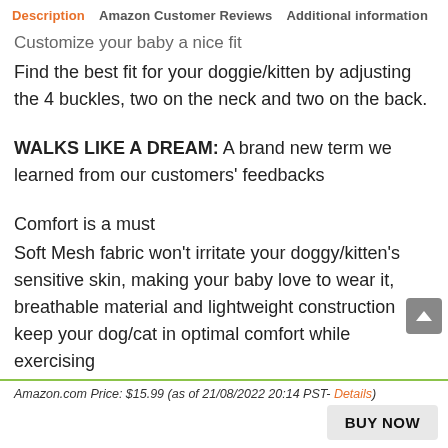Description  Amazon Customer Reviews  Additional information
Customize your baby a nice fit
Find the best fit for your doggie/kitten by adjusting the 4 buckles, two on the neck and two on the back.
WALKS LIKE A DREAM: A brand new term we learned from our customers' feedbacks
Comfort is a must
Soft Mesh fabric won't irritate your doggy/kitten's sensitive skin, making your baby love to wear it, breathable material and lightweight construction keep your dog/cat in optimal comfort while exercising
Amazon.com Price: $15.99 (as of 21/08/2022 20:14 PST- Details)
BUY NOW